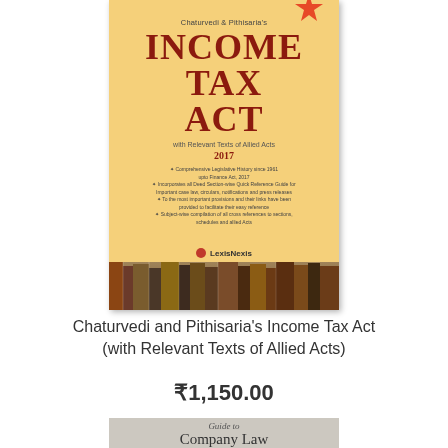[Figure (photo): Book cover of Chaturvedi and Pithisaria's Income Tax Act with Relevant Texts of Allied Acts, 2017, published by LexisNexis. Yellow cover with large red-brown title text, with decorative book spines strip at bottom.]
Chaturvedi and Pithisaria's Income Tax Act (with Relevant Texts of Allied Acts)
₹1,150.00
[Figure (photo): Partial view of another book cover: Guide to Company Law (only top portion visible)]